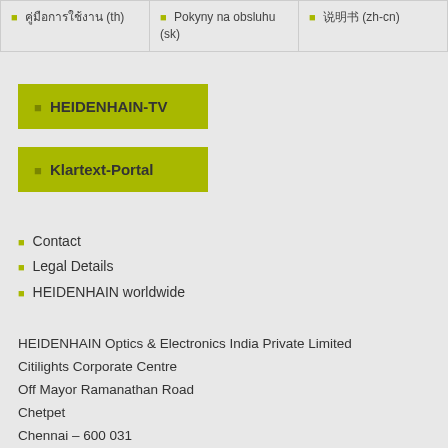| 🔲 คู่มือการใช้งาน (th) | 🔲 Pokyny na obsluhu (sk) | 🔲 说明书 (zh-cn) |
HEIDENHAIN-TV
Klartext-Portal
Contact
Legal Details
HEIDENHAIN worldwide
HEIDENHAIN Optics & Electronics India Private Limited
Citilights Corporate Centre
Off Mayor Ramanathan Road
Chetpet
Chennai – 600 031